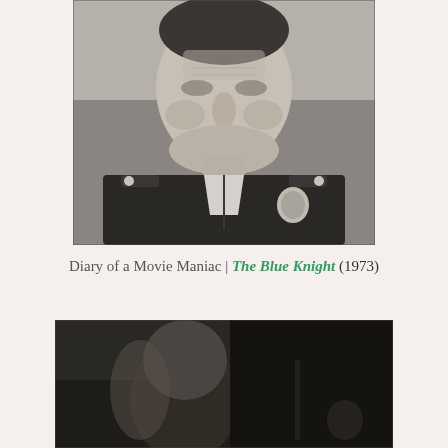[Figure (photo): Black and white close-up portrait photograph of an older man wearing a dark police or security uniform with shoulder epaulettes and a badge visible on the right chest.]
Diary of a Movie Maniac | The Blue Knight (1973)
[Figure (photo): Black and white photograph showing a partial view of a person, appears dark with limited detail visible at the bottom of the page.]